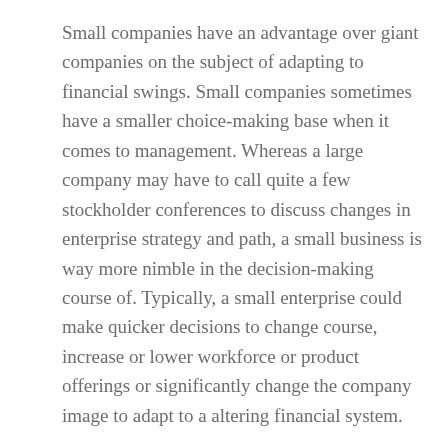Small companies have an advantage over giant companies on the subject of adapting to financial swings. Small companies sometimes have a smaller choice-making base when it comes to management. Whereas a large company may have to call quite a few stockholder conferences to discuss changes in enterprise strategy and path, a small business is way more nimble in the decision-making course of. Typically, a small enterprise could make quicker decisions to change course, increase or lower workforce or product offerings or significantly change the company image to adapt to a altering financial system.
It is important that you understand the impact financial system and different factors can easily have on your corporation as a whole. In an oligopoly, a few sellers provide a large portion of products available in the